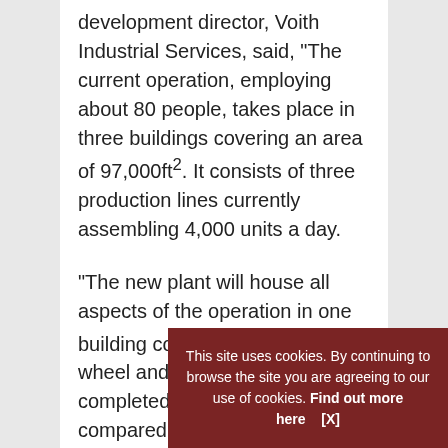development director, Voith Industrial Services, said, “The current operation, employing about 80 people, takes place in three buildings covering an area of 97,000ft². It consists of three production lines currently assembling 4,000 units a day.
“The new plant will house all aspects of the operation in one building covering 140,000ft². A wheel and tire assembly will be completed in only 12 seconds – compared with 20 seconds on the current production line.
April 6,
This site uses cookies. By continuing to browse the site you are agreeing to our use of cookies. Find out more here   [X]